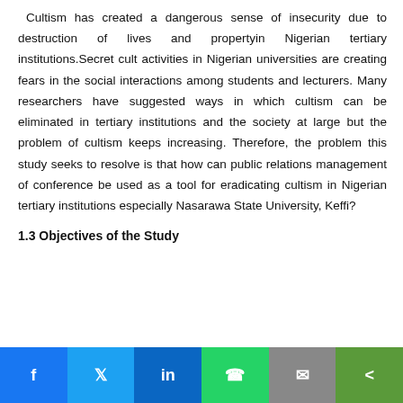Cultism has created a dangerous sense of insecurity due to destruction of lives and propertyin Nigerian tertiary institutions.Secret cult activities in Nigerian universities are creating fears in the social interactions among students and lecturers. Many researchers have suggested ways in which cultism can be eliminated in tertiary institutions and the society at large but the problem of cultism keeps increasing. Therefore, the problem this study seeks to resolve is that how can public relations management of conference be used as a tool for eradicating cultism in Nigerian tertiary institutions especially Nasarawa State University, Keffi?
1.3 Objectives of the Study